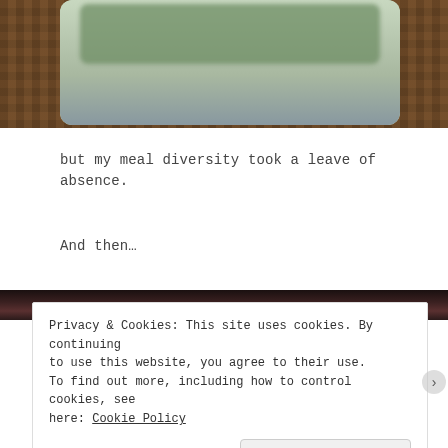[Figure (photo): Photo of food container with herbs/greens on a woven rattan/wicker surface, partially visible at the top of the page]
but my meal diversity took a leave of absence.
And then…
[Figure (photo): Partial photo visible behind cookie banner, dark tones]
Privacy & Cookies: This site uses cookies. By continuing to use this website, you agree to their use.
To find out more, including how to control cookies, see here: Cookie Policy

Close and accept